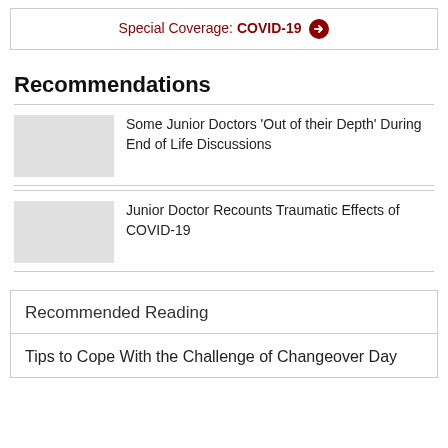Special Coverage: COVID-19 →
Recommendations
Some Junior Doctors 'Out of their Depth' During End of Life Discussions
Junior Doctor Recounts Traumatic Effects of COVID-19
Recommended Reading
Tips to Cope With the Challenge of Changeover Day